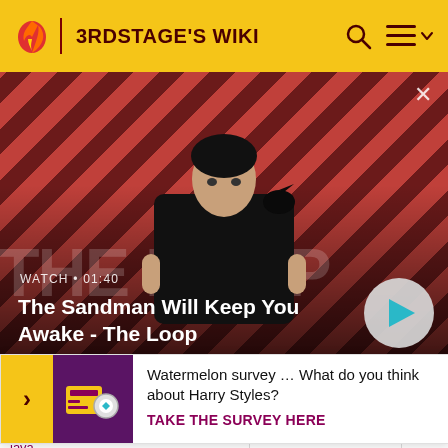3RDSTAGE'S WIKI
[Figure (screenshot): Hero video thumbnail showing a person in dark clothing with a crow on their shoulder, against a diagonal red and dark stripe background. Text overlay shows 'WATCH · 01:40' and 'The Sandman Will Keep You Awake - The Loop' with a play button. A close (X) button is in the top right.]
The Sandman Will Keep You Awake - The Loop
|  | (symmetric) key |  |
[Figure (screenshot): Survey advertisement popup with yellow arrow indicator, purple icon, and text 'Watermelon survey ... What do you think about Harry Styles?' with CTA 'TAKE THE SURVEY HERE']
Watermelon survey … What do you think about Harry Styles?
TAKE THE SURVEY HERE